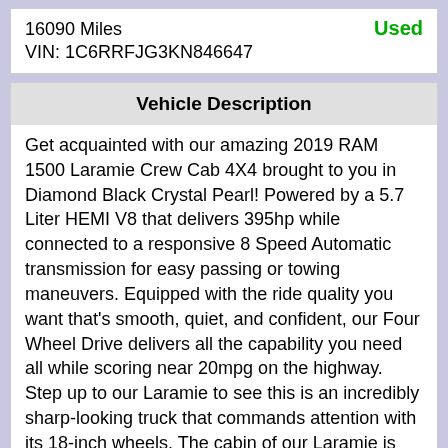16090 Miles
Used
VIN: 1C6RRFJG3KN846647
Vehicle Description
Get acquainted with our amazing 2019 RAM 1500 Laramie Crew Cab 4X4 brought to you in Diamond Black Crystal Pearl! Powered by a 5.7 Liter HEMI V8 that delivers 395hp while connected to a responsive 8 Speed Automatic transmission for easy passing or towing maneuvers. Equipped with the ride quality you want that's smooth, quiet, and confident, our Four Wheel Drive delivers all the capability you need all while scoring near 20mpg on the highway. Step up to our Laramie to see this is an incredibly sharp-looking truck that commands attention with its 18-inch wheels. The cabin of our Laramie is set-up to exceed your needs and wants with dual-zone automatic climate control, a heated steering wheel, heated and ventilated leather-trimmed seats, and a universal garage door opener. The Uconnect touchscreen display with the media hub, Alpine speakers, available satellite radio, steering wheel mounted audio controls, integrated voice command with Bluetooth, and available WiFi all help